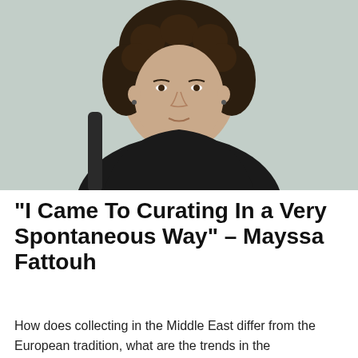[Figure (photo): Portrait photo of Mayssa Fattouh, a woman with short curly dark hair, wearing a black outfit and a geometric black necklace, photographed against a light greenish-grey wall.]
“I Came To Curating In a Very Spontaneous Way” – Mayssa Fattouh
How does collecting in the Middle East differ from the European tradition, what are the trends in the contemporary art scene, and why artists shouldn’t be seen